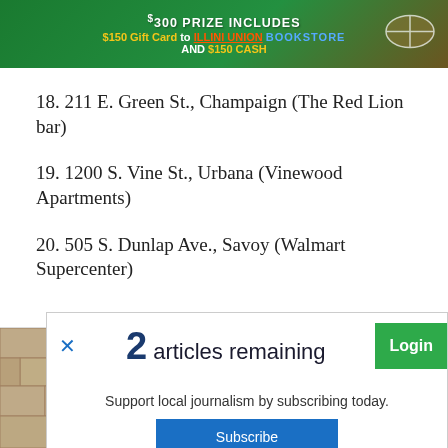[Figure (other): Advertisement banner for $300 prize including $150 Gift Card to Illini Union Bookstore and $150 cash, with football graphic]
18. 211 E. Green St., Champaign (The Red Lion bar)
19. 1200 S. Vine St., Urbana (Vinewood Apartments)
20. 505 S. Dunlap Ave., Savoy (Walmart Supercenter)
2 articles remaining
Support local journalism by subscribing today.
Subscribe
[Figure (photo): Photo of outdoor wall-mounted security camera on stone wall, part of bottom advertisement]
Homeowners Are Trading In Their Doorbell Cams For This
Camerca | Sponsored